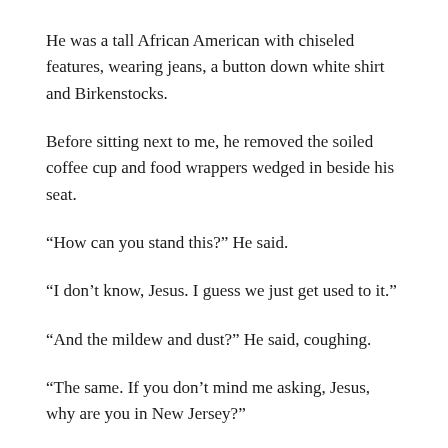He was a tall African American with chiseled features, wearing jeans, a button down white shirt and Birkenstocks.
Before sitting next to me, he removed the soiled coffee cup and food wrappers wedged in beside his seat.
“How can you stand this?” He said.
“I don’t know, Jesus. I guess we just get used to it.”
“And the mildew and dust?” He said, coughing.
“The same. If you don’t mind me asking, Jesus, why are you in New Jersey?”
“Trying to convince Governor Christie from running for